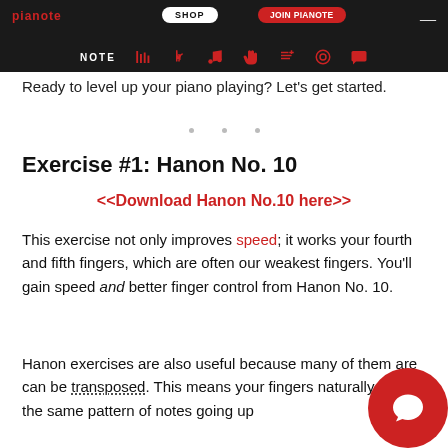NOTE | (nav icons)
Ready to level up your piano playing? Let's get started.
Exercise #1: Hanon No. 10
<<Download Hanon No.10 here>>
This exercise not only improves speed; it works your fourth and fifth fingers, which are often our weakest fingers. You'll gain speed and better finger control from Hanon No. 10.
Hanon exercises are also useful because many of them are can be transposed. This means your fingers naturally play the same pattern of notes going up